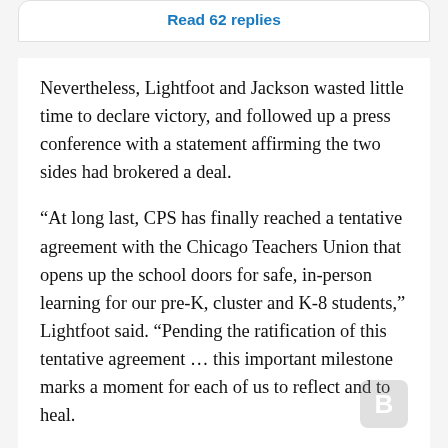Read 62 replies
Nevertheless, Lightfoot and Jackson wasted little time to declare victory, and followed up a press conference with a statement affirming the two sides had brokered a deal.
“At long last, CPS has finally reached a tentative agreement with the Chicago Teachers Union that opens up the school doors for safe, in-person learning for our pre-K, cluster and K-8 students,” Lightfoot said. “Pending the ratification of this tentative agreement … this important milestone marks a moment for each of us to reflect and to heal.